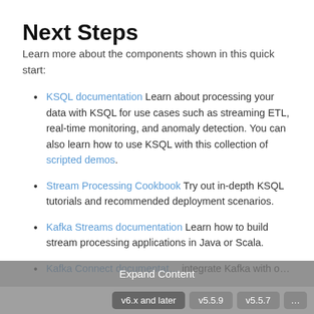Next Steps
Learn more about the components shown in this quick start:
KSQL documentation Learn about processing your data with KSQL for use cases such as streaming ETL, real-time monitoring, and anomaly detection. You can also learn how to use KSQL with this collection of scripted demos.
Stream Processing Cookbook Try out in-depth KSQL tutorials and recommended deployment scenarios.
Kafka Streams documentation Learn how to build stream processing applications in Java or Scala.
Kafka Connect documentation integrate Kafka with o…